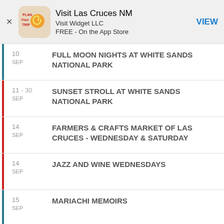[Figure (screenshot): App store ad banner for Visit Las Cruces NM by Visit Widget LLC, FREE on the App Store, with a VIEW button]
10 SEP - FULL MOON NIGHTS AT WHITE SANDS NATIONAL PARK
11 - 30 SEP - SUNSET STROLL AT WHITE SANDS NATIONAL PARK
14 SEP - FARMERS & CRAFTS MARKET OF LAS CRUCES - WEDNESDAY & SATURDAY
14 SEP - JAZZ AND WINE WEDNESDAYS
15 SEP - MARIACHI MEMOIRS